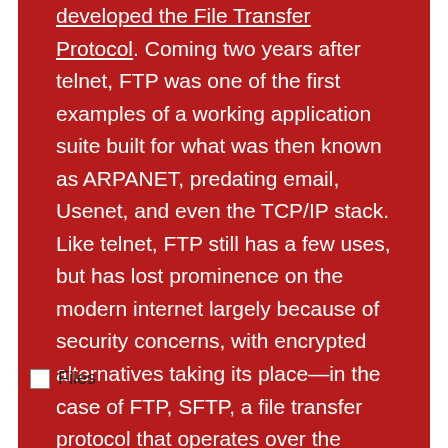developed the File Transfer Protocol. Coming two years after telnet, FTP was one of the first examples of a working application suite built for what was then known as ARPANET, predating email, Usenet, and even the TCP/IP stack. Like telnet, FTP still has a few uses, but has lost prominence on the modern internet largely because of security concerns, with encrypted alternatives taking its place—in the case of FTP, SFTP, a file transfer protocol that operates over the Secure Shell protocol (SSH), the protocol that has largely replaced telnet.
[Figure (other): Small image placeholder icon labeled 'Files']